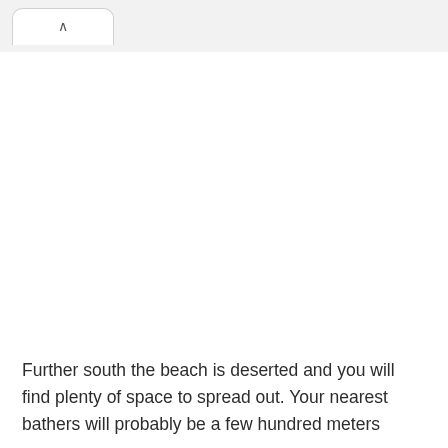^
Further south the beach is deserted and you will find plenty of space to spread out. Your nearest bathers will probably be a few hundred meters